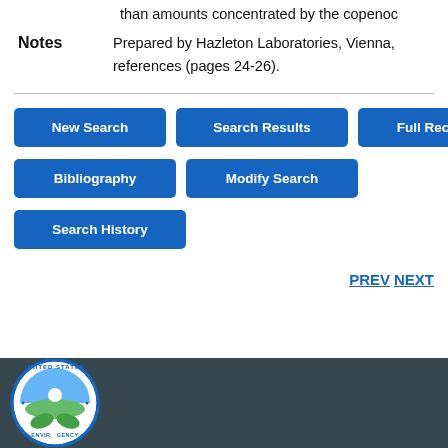than amounts concentrated by the copenod
Notes  Prepared by Hazleton Laboratories, Vienna, references (pages 24-26).
New Search | Search Results | Full Record | Bibliography | Modify Search | Search History
PREV NEXT
[Figure (logo): EPA United States Environmental Protection Agency seal/logo in footer]